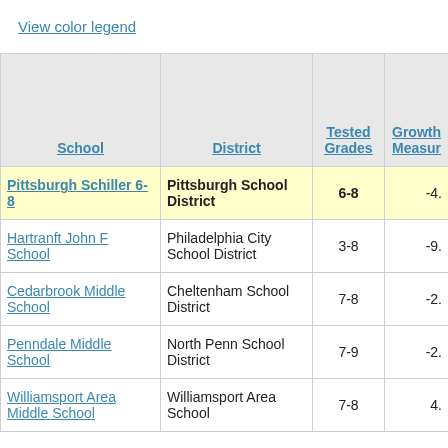View color legend
| School | District | Tested Grades | Growth Measur... |
| --- | --- | --- | --- |
| Pittsburgh Schiller 6-8 | Pittsburgh School District | 6-8 | -4. |
| Hartranft John F School | Philadelphia City School District | 3-8 | -9. |
| Cedarbrook Middle School | Cheltenham School District | 7-8 | -2. |
| Penndale Middle School | North Penn School District | 7-9 | -2. |
| Williamsport Area Middle School | Williamsport Area School | 7-8 | 4. |